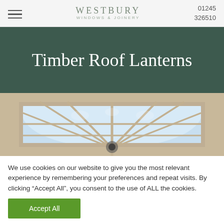WESTBURY WINDOWS & JOINERY | 01245 326510
Timber Roof Lanterns
[Figure (photo): Interior view looking up through a timber roof lantern with radiating glazing bars and blue sky visible above]
We use cookies on our website to give you the most relevant experience by remembering your preferences and repeat visits. By clicking “Accept All”, you consent to the use of ALL the cookies.
Accept All